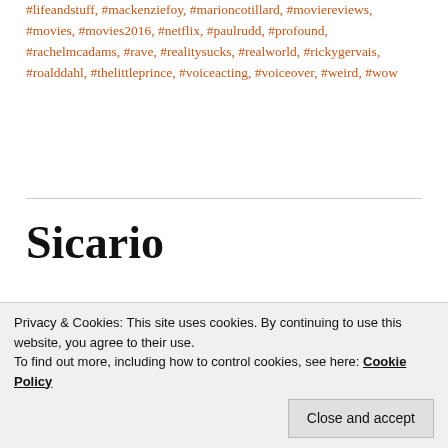#lifeandstuff, #mackenziefoy, #marioncotillard, #moviereviews, #movies, #movies2016, #netflix, #paulrudd, #profound, #rachelmcadams, #rave, #realitysucks, #realworld, #rickygervais, #roalddahl, #thelittleprince, #voiceacting, #voiceover, #weird, #wow
Sicario
Posted on September 25, 2015
[Figure (photo): Movie image or thumbnail for Sicario post, partially visible with black bar at top]
Privacy & Cookies: This site uses cookies. By continuing to use this website, you agree to their use. To find out more, including how to control cookies, see here: Cookie Policy